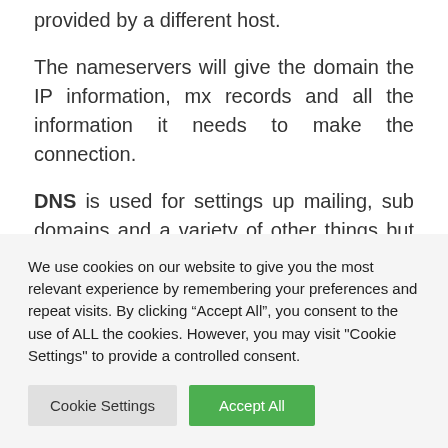provided by a different host.
The nameservers will give the domain the IP information, mx records and all the information it needs to make the connection.
DNS is used for settings up mailing, sub domains and a variety of other things but as a WordPress beginner you really wont need to worry about any of this.
We use cookies on our website to give you the most relevant experience by remembering your preferences and repeat visits. By clicking “Accept All”, you consent to the use of ALL the cookies. However, you may visit "Cookie Settings" to provide a controlled consent.